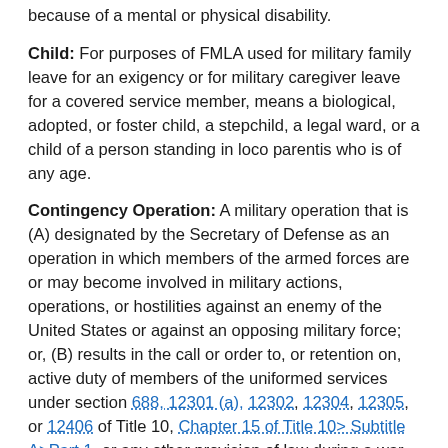because of a mental or physical disability.
Child: For purposes of FMLA used for military family leave for an exigency or for military caregiver leave for a covered service member, means a biological, adopted, or foster child, a stepchild, a legal ward, or a child of a person standing in loco parentis who is of any age.
Contingency Operation: A military operation that is (A) designated by the Secretary of Defense as an operation in which members of the armed forces are or may become involved in military actions, operations, or hostilities against an enemy of the United States or against an opposing military force; or, (B) results in the call or order to, or retention on, active duty of members of the uniformed services under section 688, 12301 (a), 12302, 12304, 12305, or 12406 of Title 10, Chapter 15 of Title 10> Subtitle A>Part 1, or any other provision of law during a war or during a national emergency declared by the President or Congress.
Covered Service Member: A current member of the armed forces, including National Guard or Reserve...